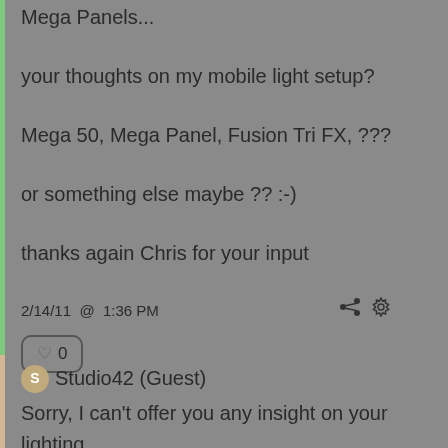Mega Panels...
your thoughts on my mobile light setup?
Mega 50, Mega Panel, Fusion Tri FX, ???
or something else maybe ?? :-)
thanks again Chris for your input
2/14/11  @  1:36 PM
0
Studio42 (Guest)
Sorry, I can't offer you any insight on your lighting.

All I will say is that the Reyos are an item of